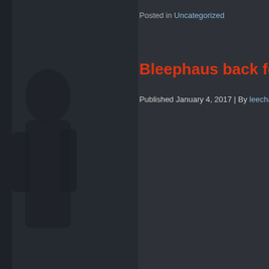[Figure (photo): Dark silhouette of a person against a dark background, occupying the left portion of the page]
Posted in Uncategorized
Bleephaus back for 201…
Published January 4, 2017 | By leecha…